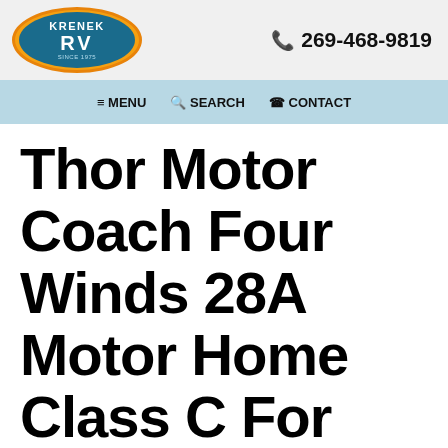KRENEK RV  269-468-9819
≡ MENU  🔍 SEARCH  ☎ CONTACT
Thor Motor Coach Four Winds 28A Motor Home Class C For Sale
[Figure (photo): Image placeholder box at bottom of page]